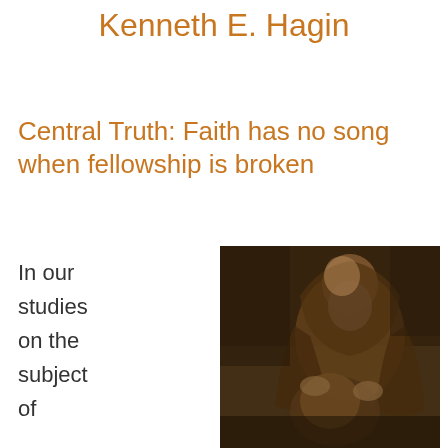Kenneth E. Hagin
Central Truth: Faith has no song when fellowship is broken
In our studies on the subject of
[Figure (illustration): Sepia-toned classical painting or etching depicting an elderly bearded man in robes, appearing to embrace or bless a kneeling figure, reminiscent of the Rembrandt 'Return of the Prodigal Son' scene.]